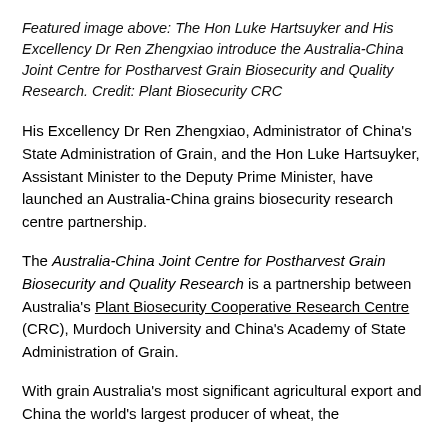Featured image above: The Hon Luke Hartsuyker and His Excellency Dr Ren Zhengxiao introduce the Australia-China Joint Centre for Postharvest Grain Biosecurity and Quality Research. Credit: Plant Biosecurity CRC
His Excellency Dr Ren Zhengxiao, Administrator of China's State Administration of Grain, and the Hon Luke Hartsuyker, Assistant Minister to the Deputy Prime Minister, have launched an Australia-China grains biosecurity research centre partnership.
The Australia-China Joint Centre for Postharvest Grain Biosecurity and Quality Research is a partnership between Australia's Plant Biosecurity Cooperative Research Centre (CRC), Murdoch University and China's Academy of State Administration of Grain.
With grain Australia's most significant agricultural export and China the world's largest producer of wheat, the...